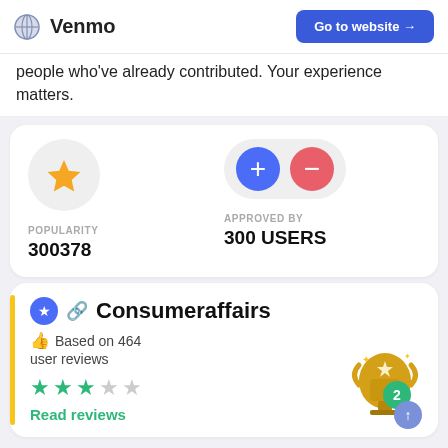Venmo  Go to website →
people who've already contributed. Your experience matters.
[Figure (infographic): Popularity stat: star icon in a circle, label POPULARITY, value 300378]
[Figure (infographic): Approved by stat: plus and minus buttons in pill, label APPROVED BY, value 300 USERS]
[Figure (infographic): Consumeraffairs card with star icon, link icon, title Consumeraffairs, Based on 464 user reviews, 3-star rating, Read reviews link, trophy image]